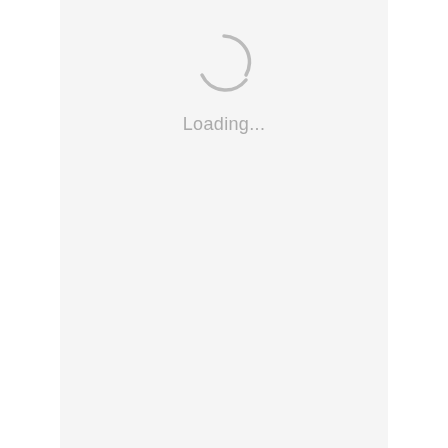[Figure (other): A circular loading spinner icon made of two arc segments in gray]
Loading...